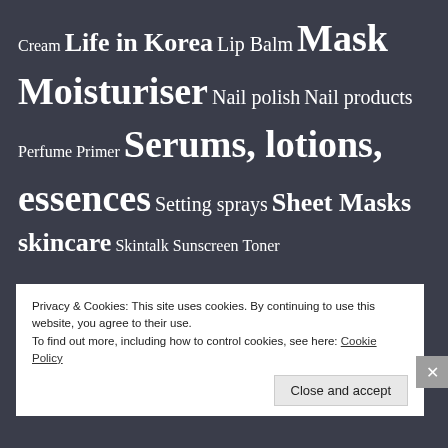Cream Life in Korea Lip Balm Mask Moisturiser Nail polish Nail products Perfume Primer Serums, lotions, essences Setting sprays Sheet Masks skincare Skintalk Sunscreen Toner Uncategorized
Privacy & Cookies: This site uses cookies. By continuing to use this website, you agree to their use. To find out more, including how to control cookies, see here: Cookie Policy
Close and accept